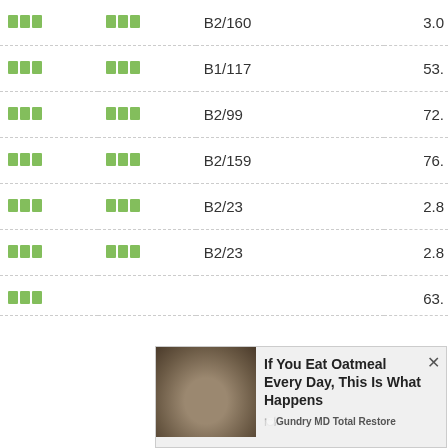| Col1 | Col2 | Code | Value |
| --- | --- | --- | --- |
| □□□ | □□□ | B2/160 | 3.0 |
| □□□ | □□□ | B1/117 | 53. |
| □□□ | □□□ | B2/99 | 72. |
| □□□ | □□□ | B2/159 | 76. |
| □□□ | □□□ | B2/23 | 2.8 |
| □□□ | □□□ | B2/23 | 2.8 |
| □□□ | □□□ |  | 63. |
[Figure (infographic): Advertisement overlay: oatmeal image with headline 'If You Eat Oatmeal Every Day, This Is What Happens' sponsored by Gundry MD Total Restore]